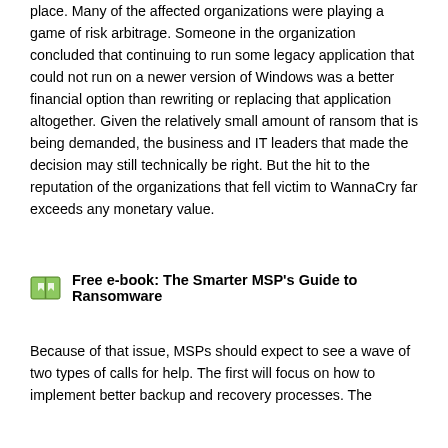place. Many of the affected organizations were playing a game of risk arbitrage. Someone in the organization concluded that continuing to run some legacy application that could not run on a newer version of Windows was a better financial option than rewriting or replacing that application altogether. Given the relatively small amount of ransom that is being demanded, the business and IT leaders that made the decision may still technically be right. But the hit to the reputation of the organizations that fell victim to WannaCry far exceeds any monetary value.
[Figure (infographic): Book icon next to bold text reading: Free e-book: The Smarter MSP's Guide to Ransomware]
Because of that issue, MSPs should expect to see a wave of two types of calls for help. The first will focus on how to implement better backup and recovery processes. The